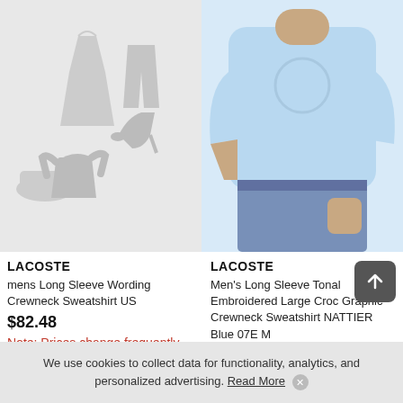[Figure (illustration): Gray placeholder image showing silhouettes of clothing items: shoes, heels, dress, pants, top]
[Figure (photo): Man wearing a light blue Lacoste crewneck sweatshirt with tonal embroidered large croc graphic, paired with jeans]
LACOSTE
mens Long Sleeve Wording Crewneck Sweatshirt US
$82.48
Note: Prices change frequently
LACOSTE
Men's Long Sleeve Tonal Embroidered Large Croc Graphic Crewneck Sweatshirt NATTIER Blue 07E M
$79.89
We use cookies to collect data for functionality, analytics, and personalized advertising. Read More